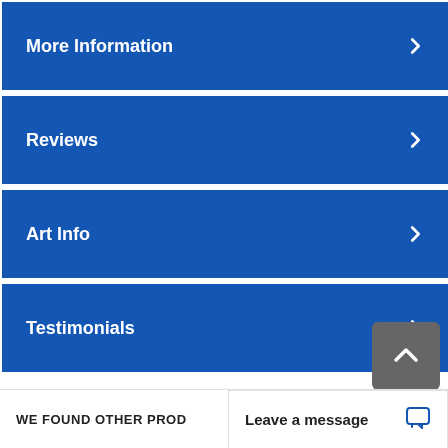More Information
Reviews
Art Info
Testimonials
WE FOUND OTHER PROD
Leave a message